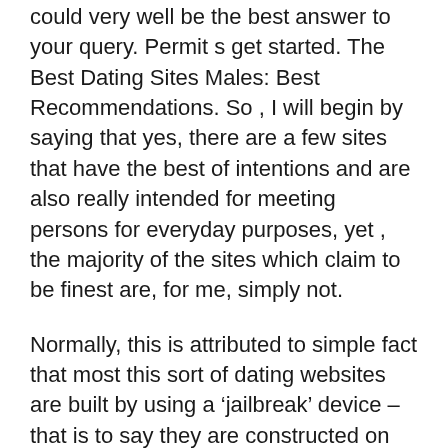could very well be the best answer to your query. Permit s get started. The Best Dating Sites Males: Best Recommendations. So , I will begin by saying that yes, there are a few sites that have the best of intentions and are also really intended for meeting persons for everyday purposes, yet , the majority of the sites which claim to be finest are, for me, simply not.
Normally, this is attributed to simple fact that most this sort of dating websites are built by using a 'jailbreak' device – that is to say they are constructed on amazing software that allows them to utilize the philipines mail order brides code to create their particular user background and then to invite new visitors, and let them to sign up for without the need to develop their own information. While it applies that this could be a convenient method of building huge user angles, the fact is always that the code is